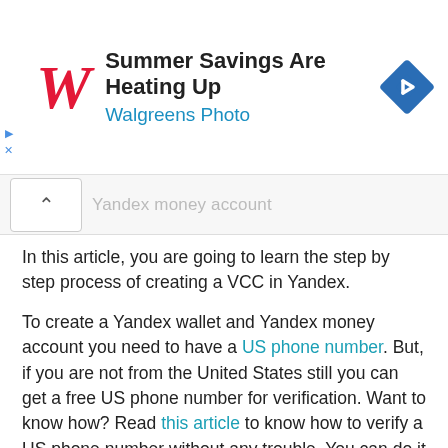[Figure (screenshot): Walgreens Photo advertisement banner with red W logo, text 'Summer Savings Are Heating Up / Walgreens Photo', and a blue diamond navigation icon]
Yandex money account
In this article, you are going to learn the step by step process of creating a VCC in Yandex.
To create a Yandex wallet and Yandex money account you need to have a US phone number. But, if you are not from the United States still you can get a free US phone number for verification. Want to know how? Read this article to know how to verify a US phone number without any trouble. You can do it with either your computer or phone.
Since you are dealing with money, we strongly